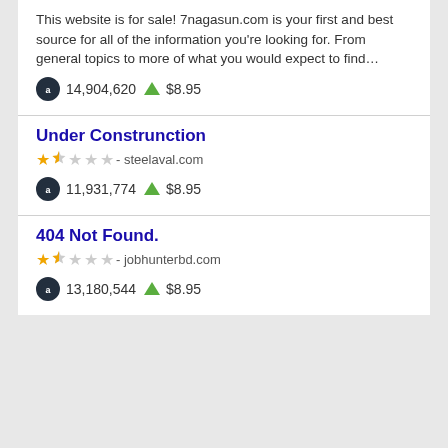This website is for sale! 7nagasun.com is your first and best source for all of the information you're looking for. From general topics to more of what you would expect to find…
14,904,620  $8.95
Under Construnction
★★½☆☆ - steelaval.com
11,931,774  $8.95
404 Not Found.
★★½☆☆ - jobhunterbd.com
13,180,544  $8.95